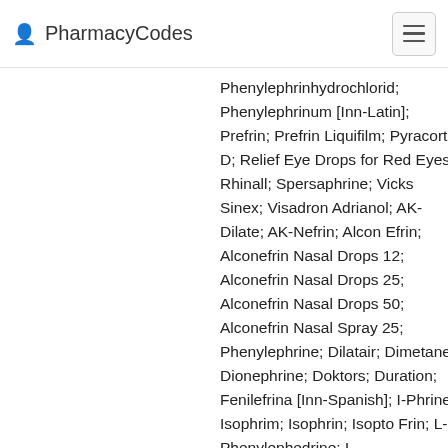PharmacyCodes
Phenylephrinhydrochlorid; Phenylephrinum [Inn-Latin]; Prefrin; Prefrin Liquifilm; Pyracort D; Relief Eye Drops for Red Eyes; Rhinall; Spersaphrine; Vicks Sinex; Visadron Adrianol; AK-Dilate; AK-Nefrin; Alcon Efrin; Alconefrin Nasal Drops 12; Alconefrin Nasal Drops 25; Alconefrin Nasal Drops 50; Alconefrin Nasal Spray 25; Phenylephrine; Dilatair; Dimetane; Dionephrine; Doktors; Duration; Fenilefrina [Inn-Spanish]; I-Phrine; Isophrim; Isophrin; Isopto Frin; L-Phenylephedrine; L-